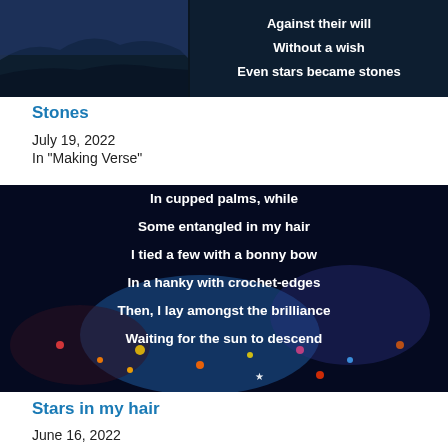[Figure (photo): Dark night sky landscape image with white text overlay reading 'Against their will / Without a wish / Even stars became stones']
Stones
July 19, 2022
In "Making Verse"
[Figure (photo): Colorful glitter and star confetti background with white text overlay reading 'In cupped palms, while / Some entangled in my hair / I tied a few with a bonny bow / In a hanky with crochet-edges / Then, I lay amongst the brilliance / Waiting for the sun to descend']
Stars in my hair
June 16, 2022
In "Making Verse"